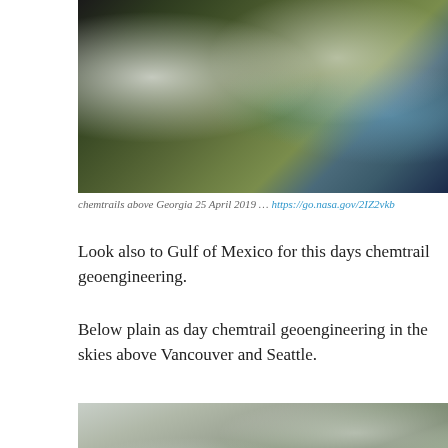[Figure (photo): Satellite image showing chemtrails above Georgia region, 25 April 2019. Taken from NASA. Shows coastal southeastern US with cloud formations and contrail streaks visible from above.]
chemtrails above Georgia 25 April 2019 … https://go.nasa.gov/2IZ2vkb
Look also to Gulf of Mexico for this days chemtrail geoengineering.
Below plain as day chemtrail geoengineering in the skies above Vancouver and Seattle.
[Figure (photo): Satellite image showing chemtrail geoengineering in the skies above Vancouver and Seattle area.]